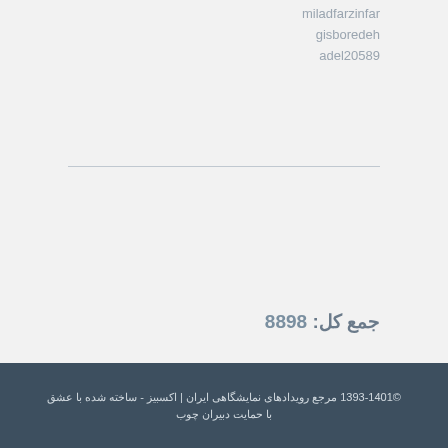miladfarzinfar
gisboredeh
adel20589
جمع کل: 8898
©1393-1401 مرجع رویدادهای نمایشگاهی ایران | اکسبیز - ساخته شده با عشق
با حمایت دبیران چوب